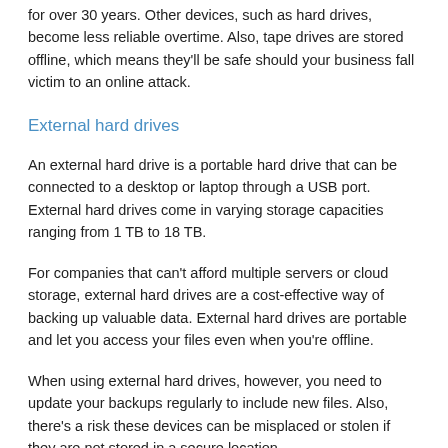for over 30 years. Other devices, such as hard drives, become less reliable overtime. Also, tape drives are stored offline, which means they'll be safe should your business fall victim to an online attack.
External hard drives
An external hard drive is a portable hard drive that can be connected to a desktop or laptop through a USB port. External hard drives come in varying storage capacities ranging from 1 TB to 18 TB.
For companies that can't afford multiple servers or cloud storage, external hard drives are a cost-effective way of backing up valuable data. External hard drives are portable and let you access your files even when you're offline.
When using external hard drives, however, you need to update your backups regularly to include new files. Also, there's a risk these devices can be misplaced or stolen if they are not stored in a secure location.